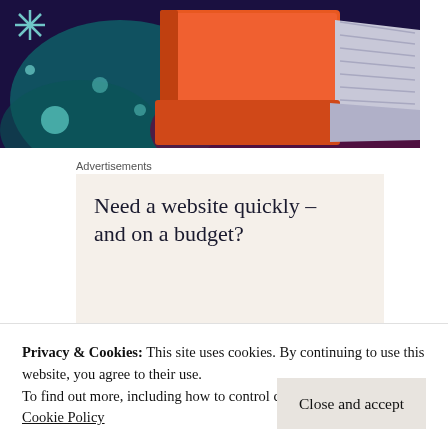[Figure (illustration): Painted illustration of orange books/folders stacked on a dark navy/teal background with snowflake-like decorative elements in light blue/teal]
Advertisements
Need a website quickly – and on a budget?
Privacy & Cookies: This site uses cookies. By continuing to use this website, you agree to their use.
To find out more, including how to control cookies, see here: Cookie Policy
Close and accept